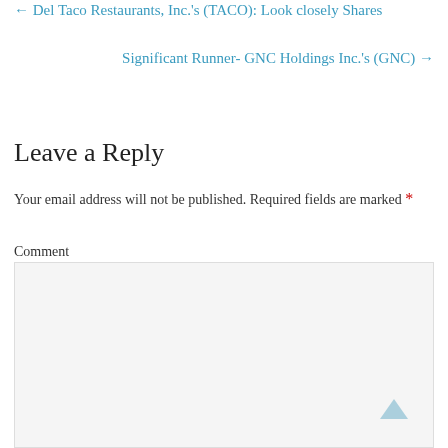← Del Taco Restaurants, Inc.'s (TACO): Look closely Shares
Significant Runner- GNC Holdings Inc.'s (GNC) →
Leave a Reply
Your email address will not be published. Required fields are marked *
Comment